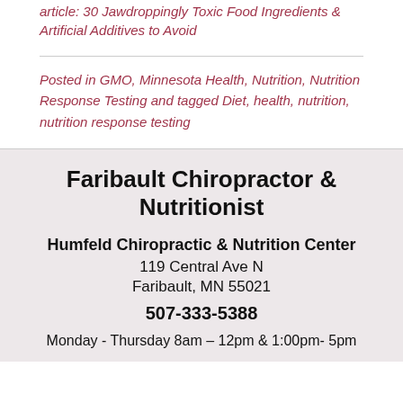article: 30 Jawdroppingly Toxic Food Ingredients & Artificial Additives to Avoid
Posted in GMO, Minnesota Health, Nutrition, Nutrition Response Testing and tagged Diet, health, nutrition, nutrition response testing
Faribault Chiropractor & Nutritionist
Humfeld Chiropractic & Nutrition Center
119 Central Ave N
Faribault, MN 55021
507-333-5388
Monday - Thursday 8am – 12pm & 1:00pm- 5pm